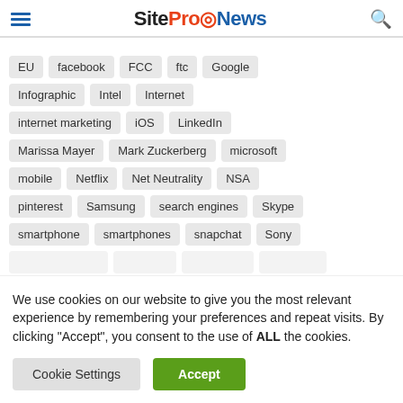SiteProNews
EU
facebook
FCC
ftc
Google
Infographic
Intel
Internet
internet marketing
iOS
LinkedIn
Marissa Mayer
Mark Zuckerberg
microsoft
mobile
Netflix
Net Neutrality
NSA
pinterest
Samsung
search engines
Skype
smartphone
smartphones
snapchat
Sony
We use cookies on our website to give you the most relevant experience by remembering your preferences and repeat visits. By clicking “Accept”, you consent to the use of ALL the cookies.